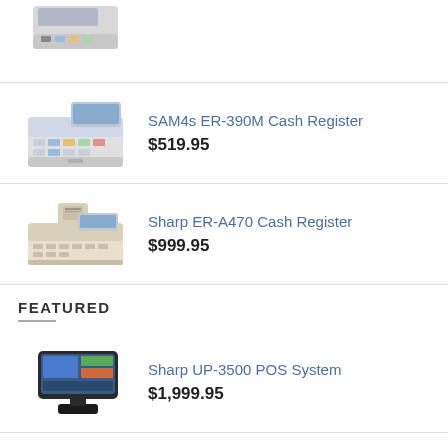[Figure (photo): Partial view of a cash register product image at the top of the page (cropped)]
SAM4s ER-390M Cash Register
$519.95
[Figure (photo): SAM4s ER-390M Cash Register product image]
Sharp ER-A470 Cash Register
$999.95
[Figure (photo): Sharp ER-A470 Cash Register product image]
FEATURED
Sharp UP-3500 POS System
$1,999.95
[Figure (photo): Sharp UP-3500 POS System product image]
Sharp UP-820N POS System
$1,499.95
[Figure (photo): Sharp UP-820N POS System product image]
Sharp UP-700 POS System